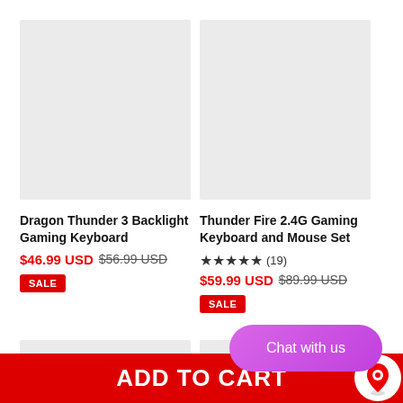[Figure (photo): Product image placeholder - light grey rectangle for Dragon Thunder 3 Backlight Gaming Keyboard]
[Figure (photo): Product image placeholder - light grey rectangle for Thunder Fire 2.4G Gaming Keyboard and Mouse Set]
Dragon Thunder 3 Backlight Gaming Keyboard
$46.99 USD  $56.99 USD  SALE
Thunder Fire 2.4G Gaming Keyboard and Mouse Set
★★★★★ (19)  $59.99 USD  $89.99 USD  SALE
[Figure (photo): Partial product image placeholder bottom left]
[Figure (photo): Partial product image placeholder bottom right]
Chat with us
ADD TO CART